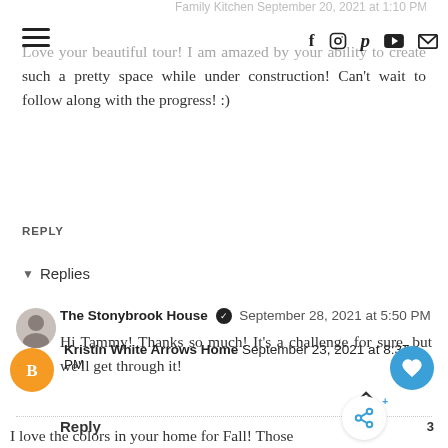Family Kitchen September 20, 2021 at 1:10 PM
Love your beautiful tour! I am amazed by your ability to create such a pretty space while under construction! Can't wait to follow along with the progress! :)
REPLY
Replies
The Stonybrook House ✓ September 28, 2021 at 5:50 PM
Hi Tammy! Thanks so much! It's a challenge for sure, but we'll get through it!
Reply
Kristin White Arrows Home September 23, 2021 at 8:37 PM
I love the colors in your home for Fall! Those